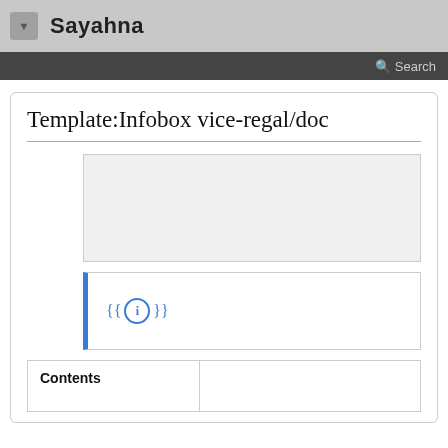Sayahna
Search
Template:Infobox vice-regal/doc
[Figure (other): Gray placeholder box representing template content area]
[Figure (infographic): Blue left-border info box containing the template syntax {{i}} icon]
Contents